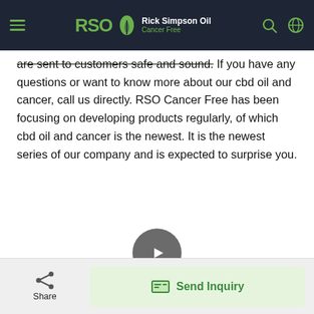RSO Rick Simpson Oil Cancer Free
are sent to customers safe and sound. If you have any questions or want to know more about our cbd oil and cancer, call us directly. RSO Cancer Free has been focusing on developing products regularly, of which cbd oil and cancer is the newest. It is the newest series of our company and is expected to surprise you.
[Figure (other): Video player with circular play button on white/light background area]
[Figure (other): Share button icon and Send Inquiry button in bottom bar]